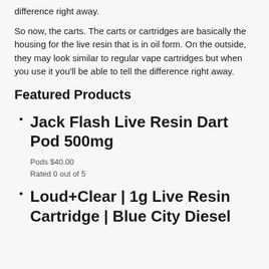difference right away.
So now, the carts. The carts or cartridges are basically the housing for the live resin that is in oil form. On the outside, they may look similar to regular vape cartridges but when you use it you'll be able to tell the difference right away.
Featured Products
Jack Flash Live Resin Dart Pod 500mg
Pods $40.00
Rated 0 out of 5
Loud+Clear | 1g Live Resin Cartridge | Blue City Diesel